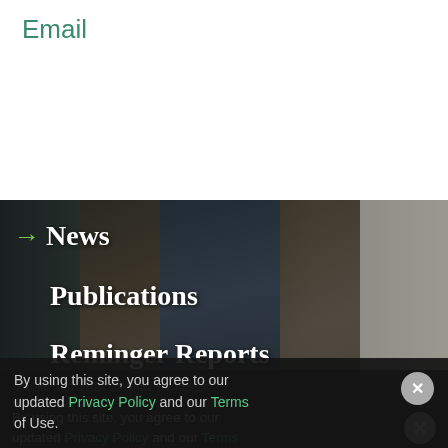Email
[Figure (photo): Dark background with a man in a blue suit and tie looking downward, overlaid with navigation menu items. Right side shows stone/concrete texture.]
→ News
Publications
Reminger Reports
Presentations
Estate and Trust Dispute Resource Center of Ohio
Seminaring Requests
By using this site, you agree to our updated Privacy Policy and our Terms of Use.